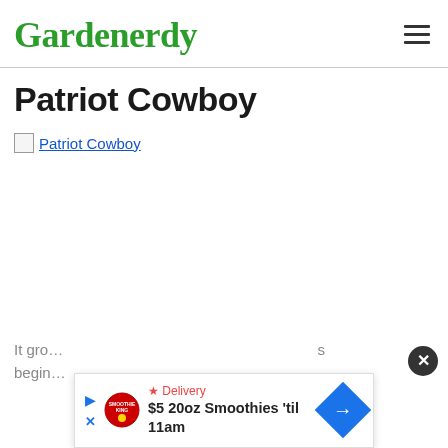Gardenerdy
Patriot Cowboy
[Figure (other): Broken image placeholder showing linked image of Patriot Cowboy]
It gro... s begin...
[Figure (other): Advertisement overlay: $5 20oz Smoothies 'til 11am from Smoothie King with delivery option]